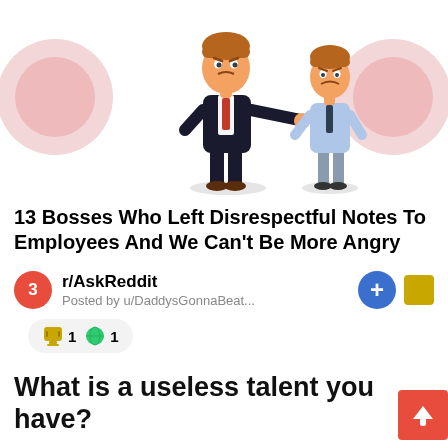[Figure (illustration): Cartoon illustration of two characters: a man in a black suit with red tie pointing at a shorter man in a light blue shirt and dark tie who looks sad. Blurred circular images on the left and right edges.]
13 Bosses Who Left Disrespectful Notes To Employees And We Can't Be More Angry
3  r/AskReddit  Posted by u/DaddysGonnaBeat...
🏆 1  🌐 1
What is a useless talent you have?